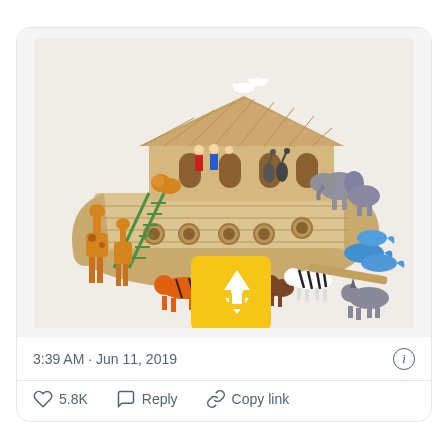[Figure (photo): A wooden Noah's Ark toy set with colorful wooden animal figures including giraffes, tigers, zebras, elephants, gorillas, ostriches, and dolphins, along with human figure pieces, arranged around a large wooden ark boat with a house structure on top. A yellow upload button with upward arrow is overlaid in the lower center of the image.]
3:39 AM · Jun 11, 2019
5.8K   Reply   Copy link